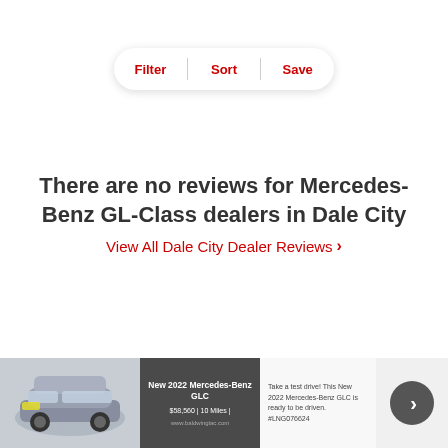[Figure (screenshot): Filter/Sort/Save navigation bar with rounded pill shape and red text labels]
There are no reviews for Mercedes-Benz GL-Class dealers in Dale City
View All Dale City Dealer Reviews >
[Figure (screenshot): Advertisement banner showing a 2022 Mercedes-Benz GLC with dark label box, text description, and a grey arrow circle button]